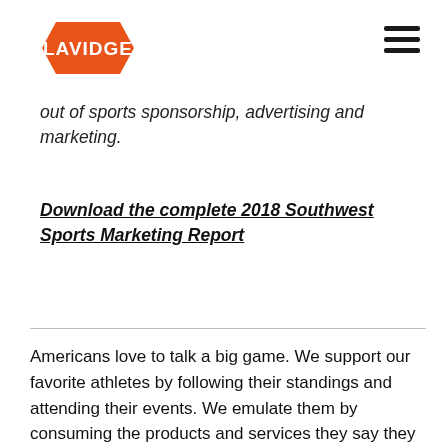[Figure (logo): LAVIDGE company logo — orange hexagon/chevron shape with white bold text 'LAVIDGE']
out of sports sponsorship, advertising and marketing.
Download the complete 2018 Southwest Sports Marketing Report
Americans love to talk a big game. We support our favorite athletes by following their standings and attending their events. We emulate them by consuming the products and services they say they use or prefer most.